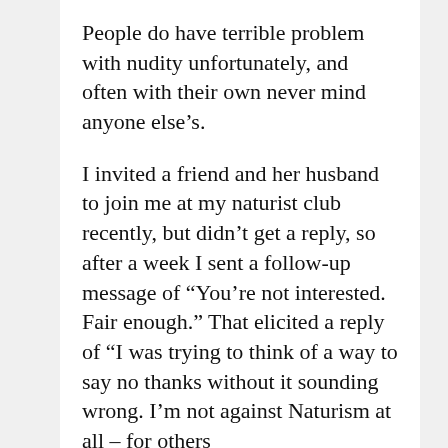People do have terrible problem with nudity unfortunately, and often with their own never mind anyone else’s.
I invited a friend and her husband to join me at my naturist club recently, but didn’t get a reply, so after a week I sent a follow-up message of “You’re not interested. Fair enough.” That elicited a reply of “I was trying to think of a way to say no thanks without it sounding wrong. I’m not against Naturism at all – for others